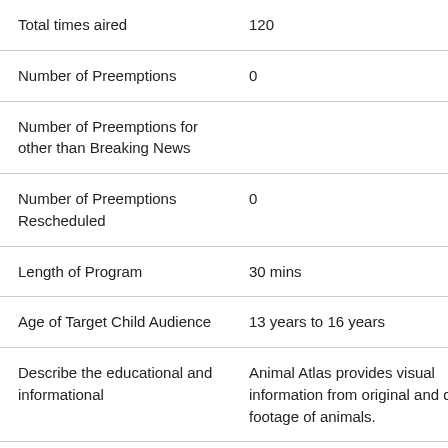| Total times aired | 120 |
| Number of Preemptions | 0 |
| Number of Preemptions for other than Breaking News |  |
| Number of Preemptions Rescheduled | 0 |
| Length of Program | 30 mins |
| Age of Target Child Audience | 13 years to 16 years |
| Describe the educational and informational | Animal Atlas provides visual information from original and detailed footage of animals. |